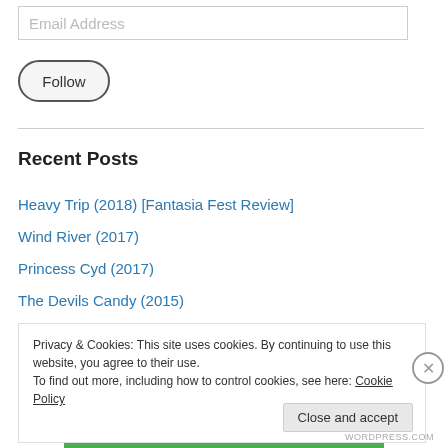Email Address
Follow
Recent Posts
Heavy Trip (2018) [Fantasia Fest Review]
Wind River (2017)
Princess Cyd (2017)
The Devils Candy (2015)
Privacy & Cookies: This site uses cookies. By continuing to use this website, you agree to their use.
To find out more, including how to control cookies, see here: Cookie Policy
Close and accept